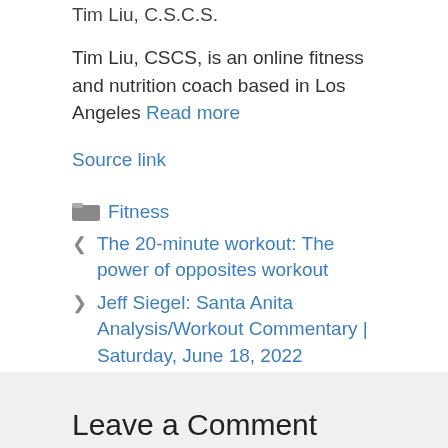Tim Liu, C.S.C.S.
Tim Liu, CSCS, is an online fitness and nutrition coach based in Los Angeles Read more
Source link
Fitness
The 20-minute workout: The power of opposites workout
Jeff Siegel: Santa Anita Analysis/Workout Commentary | Saturday, June 18, 2022
Leave a Comment